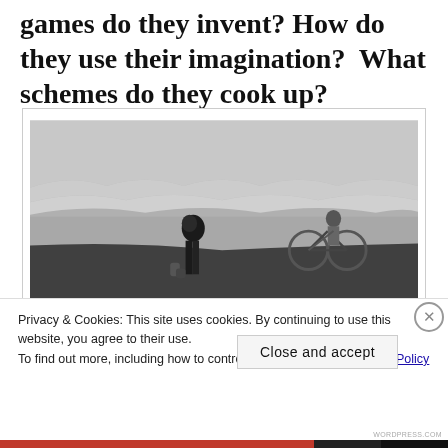games do they invent? How do they use their imagination?  What schemes do they cook up?
[Figure (photo): Black and white photograph of two children on a beach. One child stands in the foreground holding shoes, the other rides a bicycle near the shoreline with waves in the background.]
Privacy & Cookies: This site uses cookies. By continuing to use this website, you agree to their use.
To find out more, including how to control cookies, see here: Cookie Policy
Close and accept